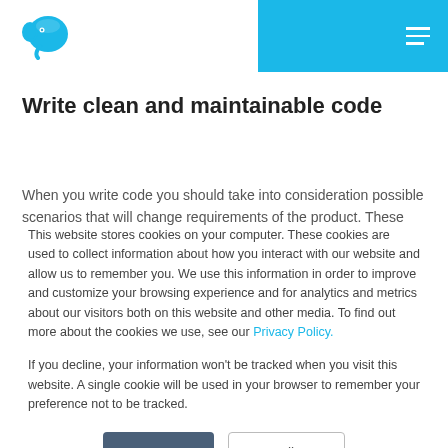[Figure (logo): Blue elephant logo (MAMP) in top left header]
Write clean and maintainable code
When you write code you should take into consideration possible scenarios that will change requirements of the product. These changes
This website stores cookies on your computer. These cookies are used to collect information about how you interact with our website and allow us to remember you. We use this information in order to improve and customize your browsing experience and for analytics and metrics about our visitors both on this website and other media. To find out more about the cookies we use, see our Privacy Policy.
If you decline, your information won't be tracked when you visit this website. A single cookie will be used in your browser to remember your preference not to be tracked.